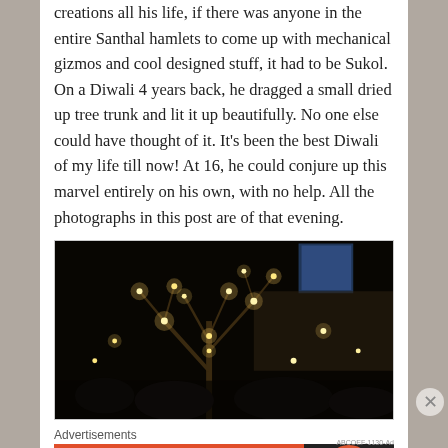creations all his life, if there was anyone in the entire Santhal hamlets to come up with mechanical gizmos and cool designed stuff, it had to be Sukol. On a Diwali 4 years back, he dragged a small dried up tree trunk and lit it up beautifully. No one else could have thought of it. It's been the best Diwali of my life till now! At 16, he could conjure up this marvel entirely on his own, with no help. All the photographs in this post are of that evening.
[Figure (photo): A dark nighttime photograph showing a bare tree trunk lit with small warm lights/diyas, creating a glowing effect in the dark. Blue light visible in background window.]
Advertisements
[Figure (infographic): DuckDuckGo advertisement banner: orange background on left with text 'Search, browse, and email with more privacy. All in One Free App'; dark right section with DuckDuckGo duck logo.]